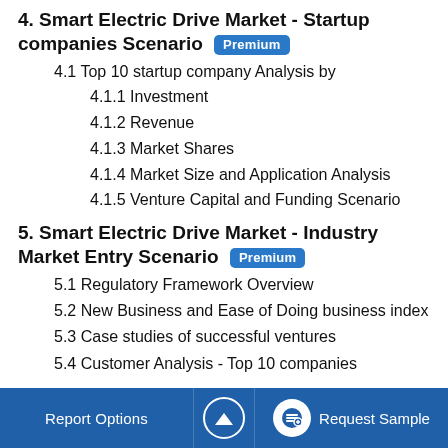4. Smart Electric Drive Market - Startup companies Scenario Premium
4.1 Top 10 startup company Analysis by
4.1.1 Investment
4.1.2 Revenue
4.1.3 Market Shares
4.1.4 Market Size and Application Analysis
4.1.5 Venture Capital and Funding Scenario
5. Smart Electric Drive Market - Industry Market Entry Scenario Premium
5.1 Regulatory Framework Overview
5.2 New Business and Ease of Doing business index
5.3 Case studies of successful ventures
5.4 Customer Analysis - Top 10 companies
Report Options  ^  Request Sample